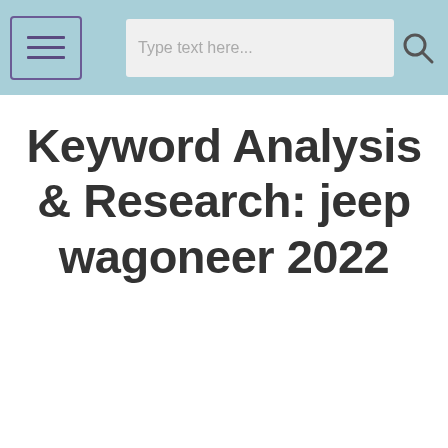Keyword Analysis & Research: jeep wagoneer 2022